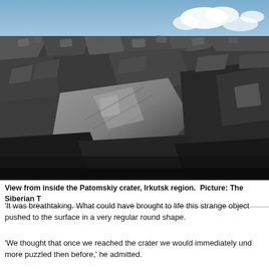[Figure (photo): View from inside the Patomskiy crater showing large rocky boulders and rock formations with a partly cloudy sky visible at the top. Dark and grey rocks dominate the scene, with one prominent large smooth boulder in the center foreground.]
View from inside the Patomskiy crater, Irkutsk region.  Picture: The Siberian T
'It was breathtaking. What could have brought to life this strange object pushed to the surface in a very regular round shape.
'We thought that once we reached the crater we would immediately understand more puzzled then before,' he admitted.